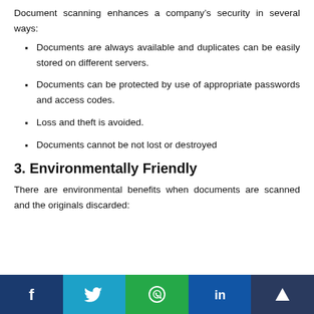Document scanning enhances a company’s security in several ways:
Documents are always available and duplicates can be easily stored on different servers.
Documents can be protected by use of appropriate passwords and access codes.
Loss and theft is avoided.
Documents cannot be not lost or destroyed
3. Environmentally Friendly
There are environmental benefits when documents are scanned and the originals discarded: